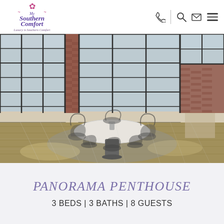[Figure (logo): My Southern Comfort logo with fleur-de-lis decoration and tagline 'Luxury is Southern Comfort']
[Figure (photo): Interior of Panorama Penthouse showing a round white dining table with acrylic ghost chairs on a round rug, floor-to-ceiling industrial steel-frame windows with brick columns, hardwood floors, bright natural light]
PANORAMA PENTHOUSE
3 BEDS | 3 BATHS | 8 GUESTS